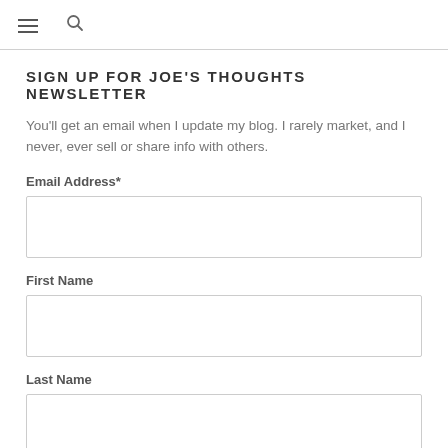≡  🔍
SIGN UP FOR JOE'S THOUGHTS NEWSLETTER
You'll get an email when I update my blog. I rarely market, and I never, ever sell or share info with others.
Email Address*
First Name
Last Name
Twitter Name